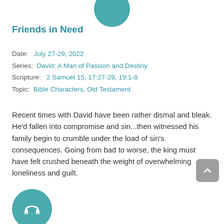[Figure (illustration): Partial teal circle at the top center of the page]
Friends in Need
Date:   July 27-29, 2022
Series:  David: A Man of Passion and Destiny
Scripture:   2 Samuel 15, 17:27-29, 19:1-8
Topic:  Bible Characters, Old Testament
Recent times with David have been rather dismal and bleak. He'd fallen into compromise and sin...then witnessed his family begin to crumble under the load of sin's consequences. Going from bad to worse, the king must have felt crushed beneath the weight of overwhelming loneliness and guilt.
[Figure (illustration): Partial teal circle with headphones icon at the bottom left of the page]